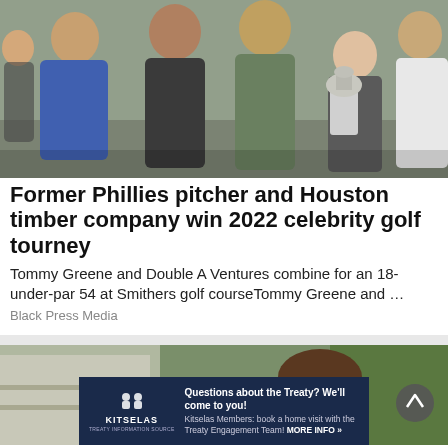[Figure (photo): Group of six people posing together indoors, one holding a large silver trophy cup. People are dressed casually. Background shows interior of a building.]
Former Phillies pitcher and Houston timber company win 2022 celebrity golf tourney
Tommy Greene and Double A Ventures combine for an 18-under-par 54 at Smithers golf courseTommy Greene and …
Black Press Media
[Figure (photo): Partial photo showing a person outdoors near trees and a building.]
[Figure (other): Advertisement banner for Kitselas Treaty Engagement. Dark blue background with Kitselas logo on left. Text: Questions about the Treaty? We'll come to you! Kitselas Members: book a home visit with the Treaty Engagement Team! MORE INFO »]